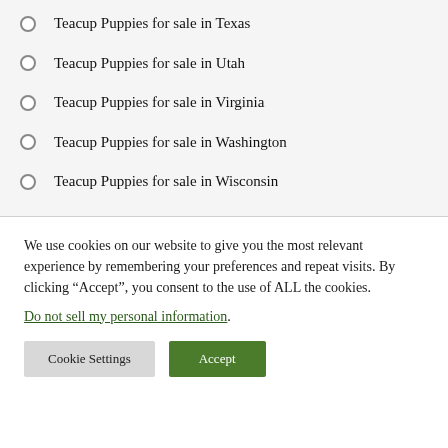Teacup Puppies for sale in Texas
Teacup Puppies for sale in Utah
Teacup Puppies for sale in Virginia
Teacup Puppies for sale in Washington
Teacup Puppies for sale in Wisconsin
We use cookies on our website to give you the most relevant experience by remembering your preferences and repeat visits. By clicking “Accept”, you consent to the use of ALL the cookies.
Do not sell my personal information.
Cookie Settings | Accept